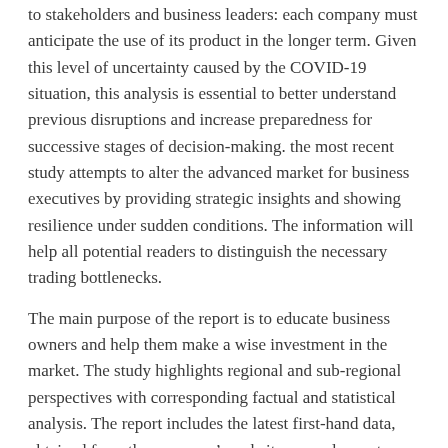to stakeholders and business leaders: each company must anticipate the use of its product in the longer term. Given this level of uncertainty caused by the COVID-19 situation, this analysis is essential to better understand previous disruptions and increase preparedness for successive stages of decision-making. the most recent study attempts to alter the advanced market for business executives by providing strategic insights and showing resilience under sudden conditions. The information will help all potential readers to distinguish the necessary trading bottlenecks.
The main purpose of the report is to educate business owners and help them make a wise investment in the market. The study highlights regional and sub-regional perspectives with corresponding factual and statistical analysis. The report includes the latest first-hand data, obtained from the company's website, annual reports, industry-recommended journals, and paid resources. The Debt Negotiation report will help business owners understand the current market trend and make profitable decisions.